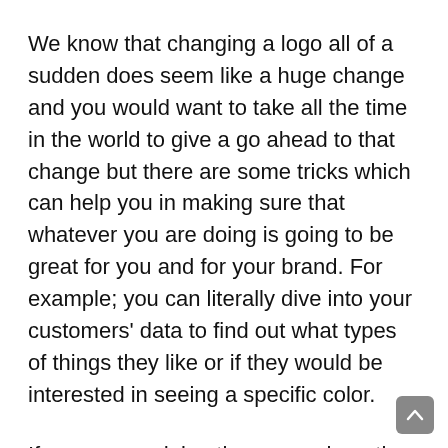We know that changing a logo all of a sudden does seem like a huge change and you would want to take all the time in the world to give a go ahead to that change but there are some tricks which can help you in making sure that whatever you are doing is going to be great for you and for your brand. For example; you can literally dive into your customers' data to find out what types of things they like or if they would be interested in seeing a specific color.
If you are on doing the research on the digital media then you find out the likes and dislikes through multiple tools which can not only tell you about the favorite TV series of your audience but these tools